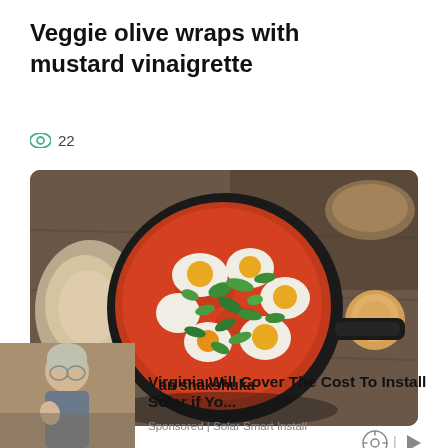Veggie olive wraps with mustard vinaigrette
22
[Figure (photo): Overhead shot of shakshuka — eggs poached in tomato sauce with green herbs in a cast iron skillet, set on a dark wooden surface with bread and a wooden bowl.]
pan shakshuka
[Figure (photo): Thumbnail of a woman with glasses gesturing while speaking, partial view.]
Virginia Will Cover The Cost To Install Solar if Yo...
Sponsored | Solar Smart Install